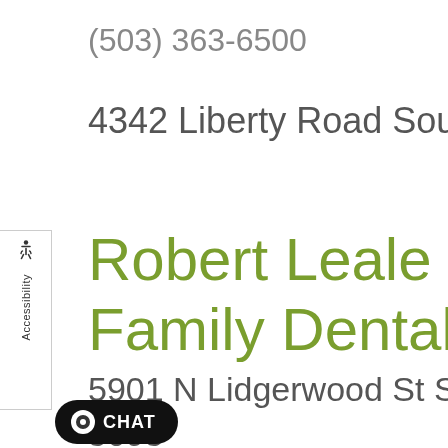(503) 363-6500
4342 Liberty Road South, Sa
Robert Leale DDS -
Family Dental  Phone
5901 N Lidgerwood St Suite 2
5095
[Figure (other): Accessibility sidebar widget with wheelchair icon and vertical 'Accessibility' label]
CHAT